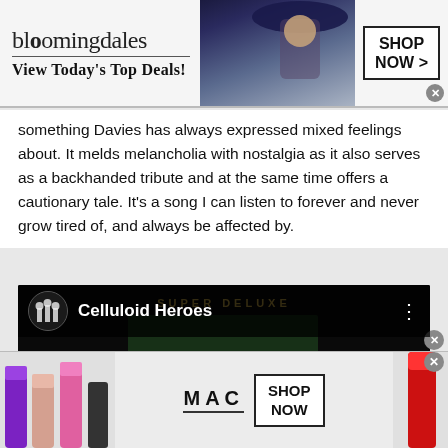[Figure (screenshot): Bloomingdale's advertisement banner with logo, tagline 'View Today's Top Deals!', model photo, and 'SHOP NOW >' button]
something Davies has always expressed mixed feelings about. It melds melancholia with nostalgia as it also serves as a backhanded tribute and at the same time offers a cautionary tale. It's a song I can listen to forever and never grow tired of, and always be affected by.
[Figure (screenshot): YouTube video embed showing 'Celluloid Heroes' with The Kinks album art thumbnail and play button]
[Figure (screenshot): MAC cosmetics advertisement banner with colorful lipsticks, MAC logo, and 'SHOP NOW' button]